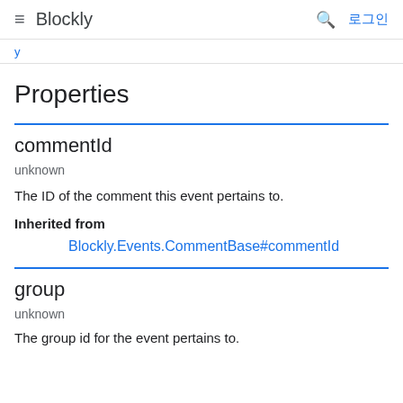≡ Blockly | 🔍 로그인
Properties
commentId
unknown
The ID of the comment this event pertains to.
Inherited from
Blockly.Events.CommentBase#commentId
group
unknown
The group id for the event pertains to.